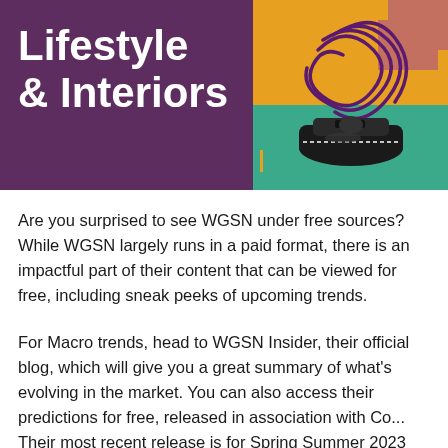Lifestyle & Interiors
[Figure (photo): A black woodworking plane tool photographed on a teal cutting mat background, with an orange background panel and decorative purple swirl illustration overlay]
Are you surprised to see WGSN under free sources? While WGSN largely runs in a paid format, there is an impactful part of their content that can be viewed for free, including sneak peeks of upcoming trends.
For Macro trends, head to WGSN Insider, their official blog, which will give you a great summary of what's evolving in the market. You can also access their predictions for free, released in association with Co... Their most recent release is for Spring Summer 2023